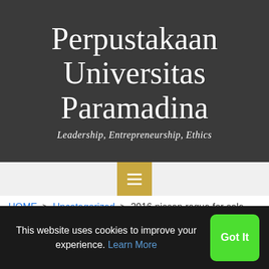Perpustakaan Universitas Paramadina
Leadership, Entrepreneurship, Ethics
[Figure (other): Hamburger menu button with gold/yellow background and three white horizontal lines]
HOME > Uncategorized > 2016 nissan rogue for sale
December 2, 2020
This website uses cookies to improve your experience. Learn More